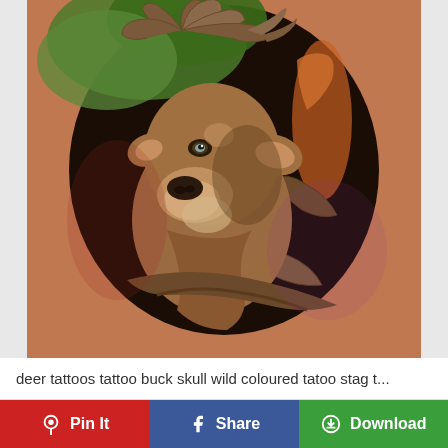[Figure (photo): A detailed colour tattoo on a person's arm depicting a realistic deer (buck) face with large antlers, surrounded by green foliage and tree branches on a dark background.]
deer tattoos tattoo buck skull wild coloured tatoo stag t...
Pin It
Share
Download